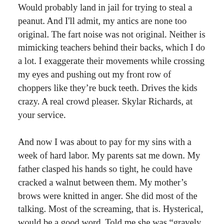Would probably land in jail for trying to steal a peanut. And I'll admit, my antics are none too original. The fart noise was not original. Neither is mimicking teachers behind their backs, which I do a lot. I exaggerate their movements while crossing my eyes and pushing out my front row of choppers like they're buck teeth. Drives the kids crazy. A real crowd pleaser. Skylar Richards, at your service.
And now I was about to pay for my sins with a week of hard labor. My parents sat me down. My father clasped his hands so tight, he could have cracked a walnut between them. My mother's brows were knitted in anger. She did most of the talking. Most of the screaming, that is. Hysterical, would be a good word. Told me she was “gravely disappointed,” like I was a kitchen appliance that stopped working. Said she was “putting a list together.” Some sort of regimen fit for a Gulag laborer. All work, no play for five days. No video games. No TV. No internet.